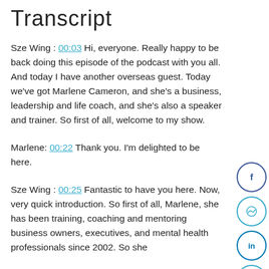Transcript
Sze Wing : 00:03 Hi, everyone. Really happy to be back doing this episode of the podcast with you all. And today I have another overseas guest. Today we've got Marlene Cameron, and she's a business, leadership and life coach, and she's also a speaker and trainer. So first of all, welcome to my show.
Marlene: 00:22 Thank you. I'm delighted to be here.
Sze Wing : 00:25 Fantastic to have you here. Now, very quick introduction. So first of all, Marlene, she has been training, coaching and mentoring business owners, executives, and mental health professionals since 2002. So she